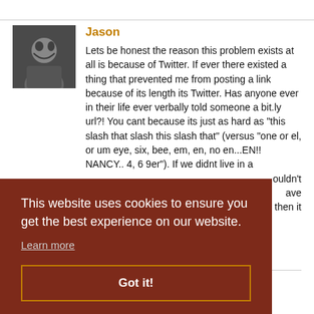Jason
Lets be honest the reason this problem exists at all is because of Twitter. If ever there existed a thing that prevented me from posting a link because of its length its Twitter. Has anyone ever in their life ever verbally told someone a bit.ly url?! You cant because its just as hard as "this slash that slash this slash that" (versus "one or el, or um eye, six, bee, em, en, no en...EN!! NANCY.. 4, 6 9er"). If we didnt live in a ...ouldn't ...ave ...then it
This website uses cookies to ensure you get the best experience on our website.
Learn more
Got it!
Martin - Um, no I don't. I haven't used it in a while, and when I do, I do it for a reason. And, its a DNS